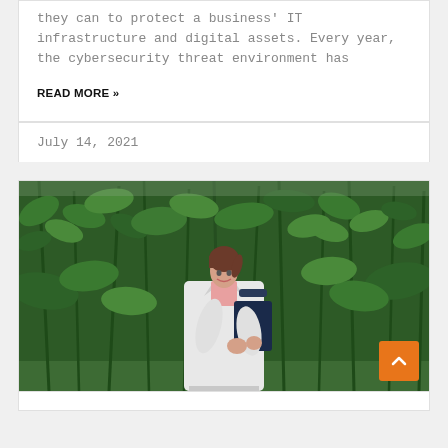they can to protect a business' IT infrastructure and digital assets. Every year, the cybersecurity threat environment has
READ MORE »
July 14, 2021
[Figure (photo): A woman in a white lab coat holding a clipboard, standing in front of tall green cannabis/hemp plants in a field.]